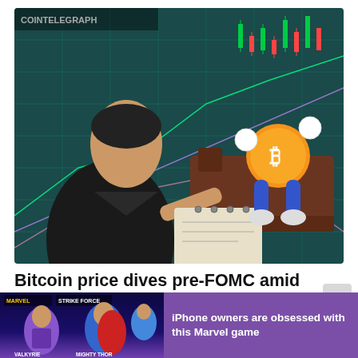[Figure (illustration): Illustrated image showing a man in a suit writing in a notebook, with an animated Bitcoin character lying on a couch/bed in front of a stock chart background. Cointelegraph logo visible in top left.]
Bitcoin price dives pre-FOMC amid warning $17.6K low was not the bottom
[Figure (photo): Advertisement banner showing Marvel Strike Force game with characters Valkyrie and Mighty Thor, with text 'iPhone owners are obsessed with this Marvel game']